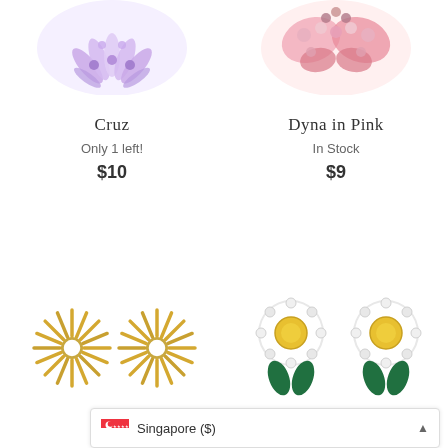[Figure (photo): Purple crystal fan-shaped earrings (Cruz) — top portion cropped]
[Figure (photo): Pink crystal butterfly earrings (Dyna in Pink) — top portion cropped]
Cruz
Only 1 left!
$10
Dyna in Pink
In Stock
$9
[Figure (photo): Pair of gold sunburst/starburst stud earrings on white background]
[Figure (photo): Pair of crystal flower earrings with yellow center stones and green leaf crystals]
Singapore ($)